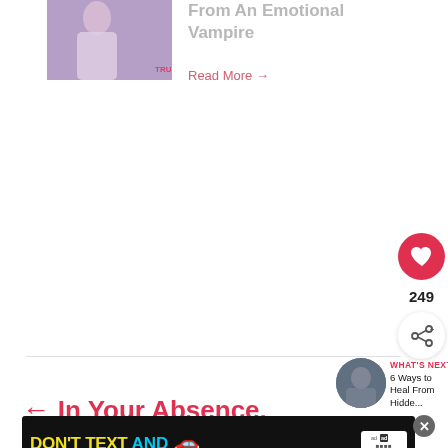[Figure (photo): Thumbnail image of a person with stylized background]
From An Emotional Vampire
Read More →
[Figure (other): Heart/like button icon (red circle with white heart), count 249, and share button]
249
WHAT'S NEXT → 6 Ways to Heal From Hidde...
[Figure (photo): Circular thumbnail for 'What's Next' article about 6 Ways to Heal]
← In Your Absence,
[Figure (other): Advertisement banner: DON'T TEXT AND [car emoji] with NHTSA logo and close button]